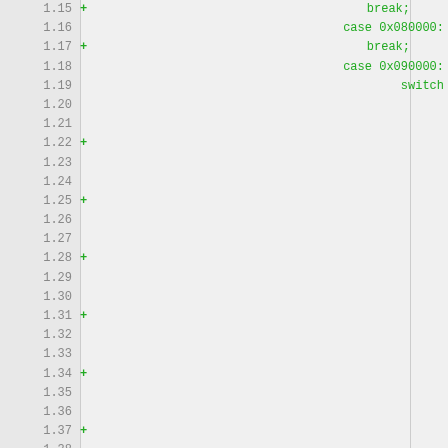Code diff view showing line numbers 1.15 through 1.38 with diff markers (+) and code: break; case 0x080000: break; case 0x090000: switch